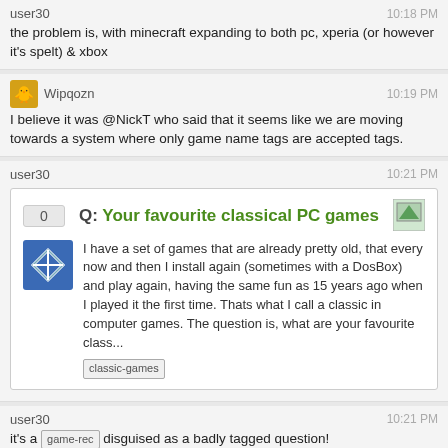user30 10:18 PM
the problem is, with minecraft expanding to both pc, xperia (or however it's spelt) & xbox
Wipqozn 10:19 PM
I believe it was @NickT who said that it seems like we are moving towards a system where only game name tags are accepted tags.
user30 10:21 PM
[onebox: Q: Your favourite classical PC games - I have a set of games that are already pretty old, that every now and then I install again (sometimes with a DosBox) and play again, having the same fun as 15 years ago when I played it the first time. Thats what I call a classic in computer games. The question is, what are your favourite class... [classic-games]]
user30 10:21 PM
it's a [game-rec] disguised as a badly tagged question!
user30 10:22 PM
admittedly, it's closed, which the chat onebox should probably represent
user30 10:24 PM
@badp where do you has smiley in that blog post?
user30 10:24 PM
okay, got it
badp 10:24 PM